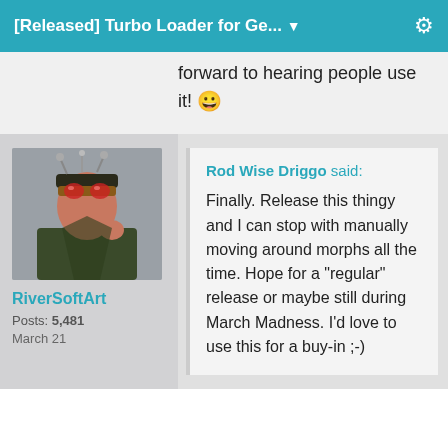[Released] Turbo Loader for Ge...
forward to hearing people use it! 😀
[Figure (photo): Steampunk character avatar photo for user RiverSoftArt]
RiverSoftArt
Posts: 5,481
March 21
Rod Wise Driggo said:
Finally. Release this thingy and I can stop with manually moving around morphs all the time. Hope for a "regular" release or maybe still during March Madness. I'd love to use this for a buy-in ;-)